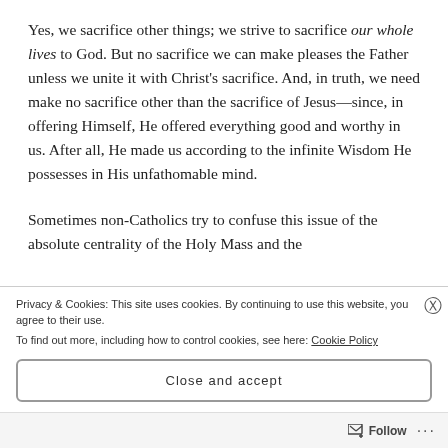Yes, we sacrifice other things; we strive to sacrifice our whole lives to God. But no sacrifice we can make pleases the Father unless we unite it with Christ's sacrifice. And, in truth, we need make no sacrifice other than the sacrifice of Jesus—since, in offering Himself, He offered everything good and worthy in us. After all, He made us according to the infinite Wisdom He possesses in His unfathomable mind.

Sometimes non-Catholics try to confuse this issue of the absolute centrality of the Holy Mass and the
Privacy & Cookies: This site uses cookies. By continuing to use this website, you agree to their use.
To find out more, including how to control cookies, see here: Cookie Policy
Close and accept